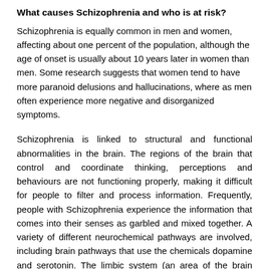What causes Schizophrenia and who is at risk?
Schizophrenia is equally common in men and women, affecting about one percent of the population, although the age of onset is usually about 10 years later in women than men. Some research suggests that women tend to have more paranoid delusions and hallucinations, where as men often experience more negative and disorganized symptoms.
Schizophrenia is linked to structural and functional abnormalities in the brain. The regions of the brain that control and coordinate thinking, perceptions and behaviours are not functioning properly, making it difficult for people to filter and process information. Frequently, people with Schizophrenia experience the information that comes into their senses as garbled and mixed together. A variety of different neurochemical pathways are involved, including brain pathways that use the chemicals dopamine and serotonin. The limbic system (an area of the brain involved with emotion), the thalamus (which coordinates outgoing messages), the cortex (the part of